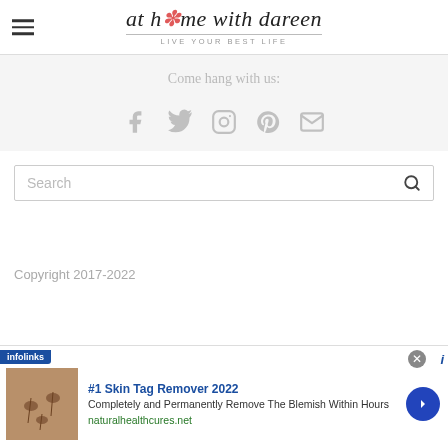at home with dareen — LIVE YOUR BEST LIFE
Come hang with us:
[Figure (infographic): Social media icons: Facebook, Twitter, Instagram, Pinterest, Email — shown in light gray]
[Figure (screenshot): Search input box with placeholder text 'Search' and a search icon (magnifying glass)]
Copyright 2017-2022
[Figure (infographic): Infolinks advertisement bar: '#1 Skin Tag Remover 2022 — Completely and Permanently Remove The Blemish Within Hours — naturalhealthcures.net' with skin photo and arrow button]